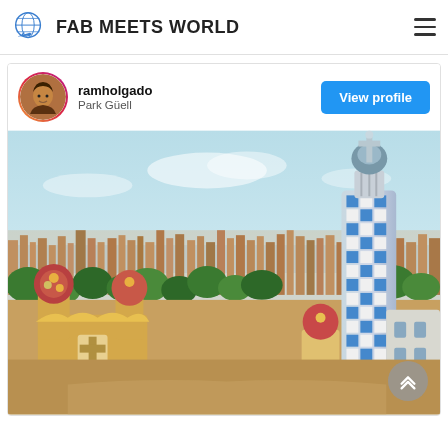FAB MEETS WORLD
ramholgado
Park Güell
[Figure (photo): Aerial view of Park Güell, Barcelona, showing Gaudí's ornate mosaic architecture with distinctive spires and the Barcelona cityscape and sea in the background.]
View profile